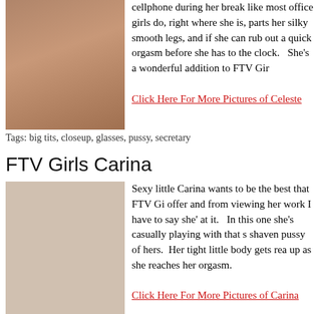[Figure (photo): Photo of a young woman with glasses and brown hair]
cellphone during her break like most office girls do, right where she is, parts her silky smooth legs, and if she can rub out a quick orgasm before she has to the clock.   She’s a wonderful addition to FTV Gir
Click Here For More Pictures of Celeste
Tags: big tits, closeup, glasses, pussy, secretary
FTV Girls Carina
[Figure (photo): Photo placeholder for Carina]
Sexy little Carina wants to be the best that FTV Gi offer and from viewing her work I have to say she’ at it.   In this one she’s casually playing with that s shaven pussy of hers.  Her tight little body gets rea up as she reaches her orgasm.
Click Here For More Pictures of Carina
Tags: closeup, latin, masturbation, pussy, tattoo